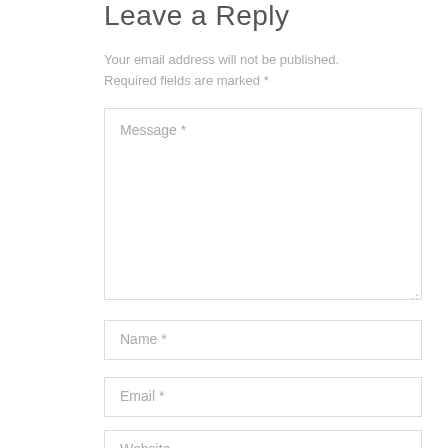Leave a Reply
Your email address will not be published. Required fields are marked *
[Figure (screenshot): A web comment form with a large Message textarea field, followed by Name, Email, and Website input fields. All fields have placeholder text and a light gray border.]